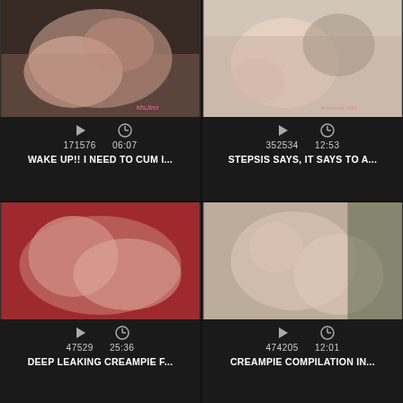[Figure (screenshot): Video thumbnail grid showing 4 adult video thumbnails with play counts, durations, and titles]
171576  06:07
WAKE UP!! I NEED TO CUM I...
352534  12:53
STEPSIS SAYS, IT SAYS TO A...
47529  25:36
DEEP LEAKING CREAMPIE F...
474205  12:01
CREAMPIE COMPILATION IN...